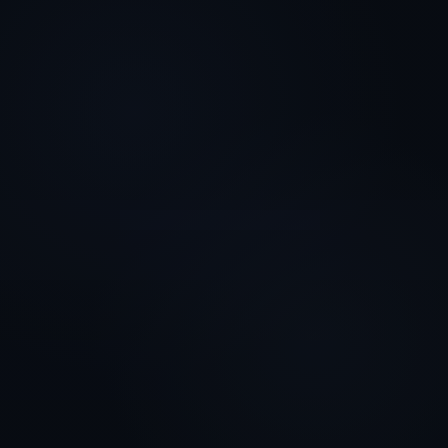[Figure (photo): Nearly solid dark navy/black background page with very subtle texture variations. The image is almost entirely dark with barely visible faint lighter areas suggesting a dark background cover page or blank dark page.]